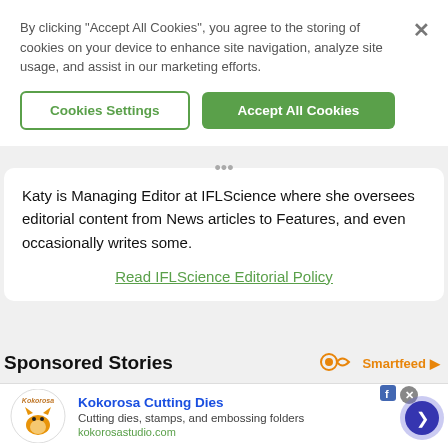By clicking “Accept All Cookies”, you agree to the storing of cookies on your device to enhance site navigation, analyze site usage, and assist in our marketing efforts.
Cookies Settings
Accept All Cookies
Katy is Managing Editor at IFLScience where she oversees editorial content from News articles to Features, and even occasionally writes some.
Read IFLScience Editorial Policy
Sponsored Stories
Smartfeed
Kokorosa Cutting Dies
Cutting dies, stamps, and embossing folders
kokorosastudio.com